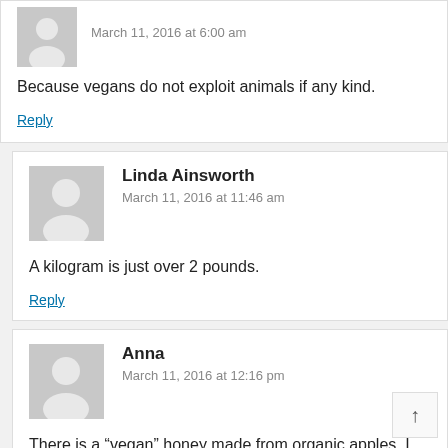March 11, 2016 at 6:00 am
Because vegans do not exploit animals if any kind.
Reply
Linda Ainsworth
March 11, 2016 at 11:46 am
A kilogram is just over 2 pounds.
Reply
Anna
March 11, 2016 at 12:16 pm
There is a “vegan” honey made from organic apples. I saw it
Reply